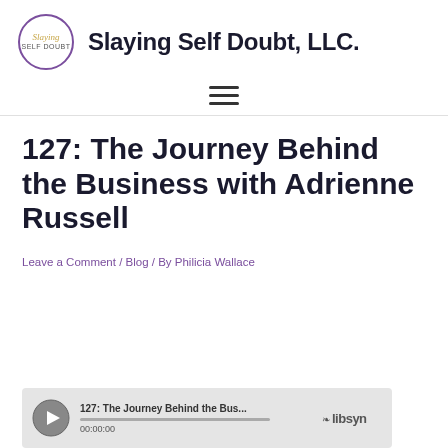Slaying Self Doubt, LLC.
127: The Journey Behind the Business with Adrienne Russell
Leave a Comment / Blog / By Philicia Wallace
[Figure (screenshot): Libsyn podcast audio player showing episode '127: The Journey Behind the Bus...' with play button, progress bar, timestamp 00:00:00, and Libsyn logo]